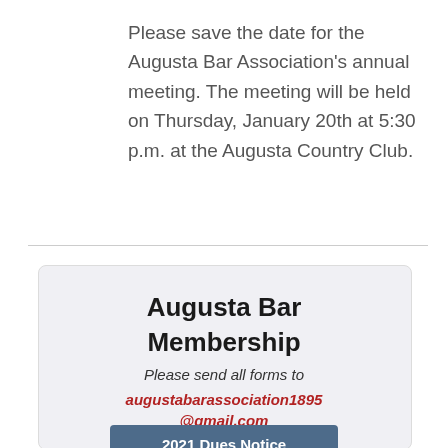Please save the date for the Augusta Bar Association's annual meeting. The meeting will be held on Thursday, January 20th at 5:30 p.m. at the Augusta Country Club.
Augusta Bar Membership
Please send all forms to augustabarassociation1895@gmail.com
2021 Dues Notice